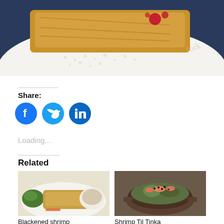[Figure (photo): Top portion of a food photo showing a plated dessert or pastry on a dark blue plate with white crumbles and red berry sauce]
Share:
[Figure (illustration): Three circular social media icons: Facebook (blue), Twitter (blue), LinkedIn (blue)]
Loading...
Related
[Figure (photo): Food photo: Blackened shrimp dish with greens and dipping sauce]
Blackened shrimp
[Figure (photo): Food photo: Shrimp Til Tinka in a bowl with greens and sesame seeds]
Shrimp Til Tinka